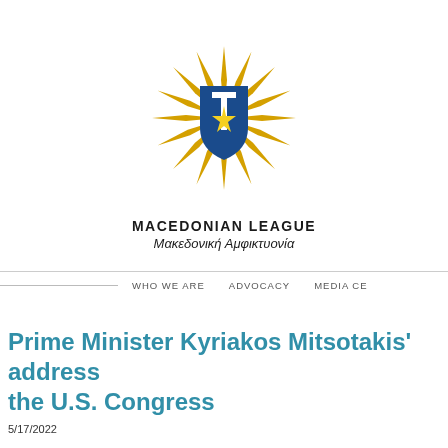[Figure (logo): Macedonian League logo: a blue heraldic shield with a white star/compass rose in the center, surrounded by a golden Vergina sun with 16 pointed rays]
MACEDONIAN LEAGUE
Μακεδονική Αμφικτυονία
WHO WE ARE   ADVOCACY   MEDIA CE
Prime Minister Kyriakos Mitsotakis' address the U.S. Congress
5/17/2022